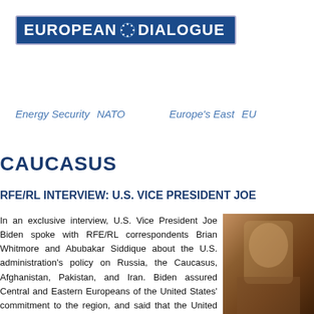[Figure (logo): European Dialogue logo — white text on dark blue background with circular dots emblem between words]
Energy Security    NATO    Europe's East    EU...
CAUCASUS
RFE/RL INTERVIEW: U.S. VICE PRESIDENT JOE...
In an exclusive interview, U.S. Vice President Joe Biden spoke with RFE/RL correspondents Brian Whitmore and Abubakar Siddique about the U.S. administration's policy on Russia, the Caucasus, Afghanistan, Pakistan, and Iran. Biden assured Central and Eastern Europeans of the United States' commitment to the region, and said that the United States will not ignore concerns about democracy in dealing with Iran on its nuclear program. READ MORE
[Figure (photo): Photo of a person, partially cropped, warm brown tones, appears to be in an indoor setting]